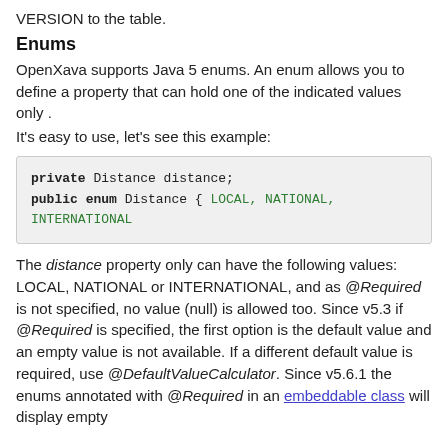VERSION to the table.
Enums
OpenXava supports Java 5 enums. An enum allows you to define a property that can hold one of the indicated values only .
It's easy to use, let's see this example:
[Figure (screenshot): Code block showing: private Distance distance; public enum Distance { LOCAL, NATIONAL, INTERNATIONAL]
The distance property only can have the following values: LOCAL, NATIONAL or INTERNATIONAL, and as @Required is not specified, no value (null) is allowed too. Since v5.3 if @Required is specified, the first option is the default value and an empty value is not available. If a different default value is required, use @DefaultValueCalculator. Since v5.6.1 the enums annotated with @Required in an embeddable class will display empty